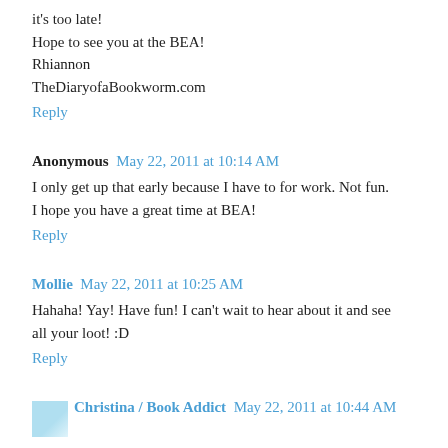it's too late!
Hope to see you at the BEA!
Rhiannon
TheDiaryofaBookworm.com
Reply
Anonymous May 22, 2011 at 10:14 AM
I only get up that early because I have to for work. Not fun. I hope you have a great time at BEA!
Reply
Mollie May 22, 2011 at 10:25 AM
Hahaha! Yay! Have fun! I can't wait to hear about it and see all your loot! :D
Reply
Christina / Book Addict May 22, 2011 at 10:44 AM